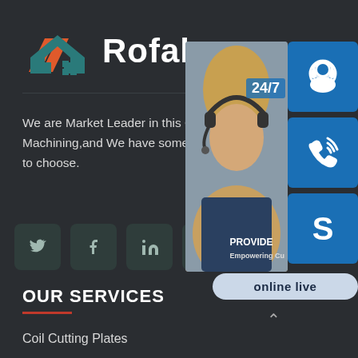[Figure (logo): Rofalco company logo with a stylized house/roof icon in orange and teal, and bold white text 'Rofalco']
We are Market Leader in this City Fabrication, Machining,and We have some metal processing to choose.
[Figure (other): Social media icon buttons: Twitter, Facebook, LinkedIn, Google+, Pinterest — dark teal square rounded buttons]
[Figure (other): Right-side overlay panel showing a customer service representative photo with headset, '24/7' label, three blue icon panels (headset, phone, Skype S logo), 'PROVIDE Empowering Cu...' text, and 'online live' button]
OUR SERVICES
Coil Cutting Plates